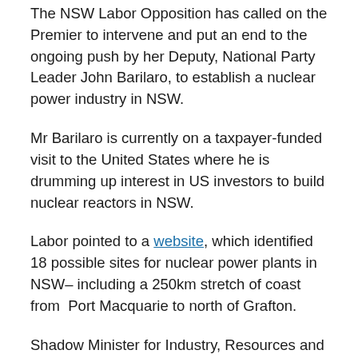The NSW Labor Opposition has called on the Premier to intervene and put an end to the ongoing push by her Deputy, National Party Leader John Barilaro, to establish a nuclear power industry in NSW.
Mr Barilaro is currently on a taxpayer-funded visit to the United States where he is drumming up interest in US investors to build nuclear reactors in NSW.
Labor pointed to a website, which identified 18 possible sites for nuclear power plants in NSW– including a 250km stretch of coast from  Port Macquarie to north of Grafton.
Shadow Minister for Industry, Resources and Energy, Adam Searle MLC and Shadow Minister for Primary Industries, Mick Veitch MLC, were on a two day visit to the North Coast, meeting with primary producers and exploring potential solutions to the energy crisis brought